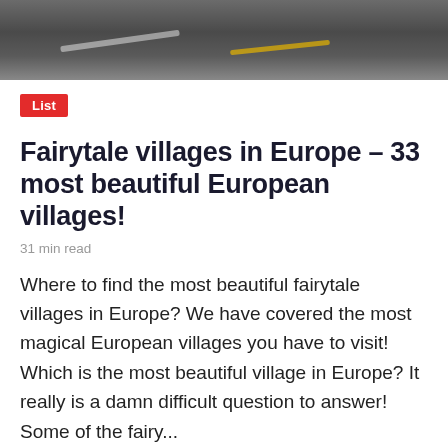[Figure (photo): Road/asphalt photograph used as article header image]
List
Fairytale villages in Europe – 33 most beautiful European villages!
31 min read
Where to find the most beautiful fairytale villages in Europe? We have covered the most magical European villages you have to visit! Which is the most beautiful village in Europe? It really is a damn difficult question to answer! Some of the fairy...